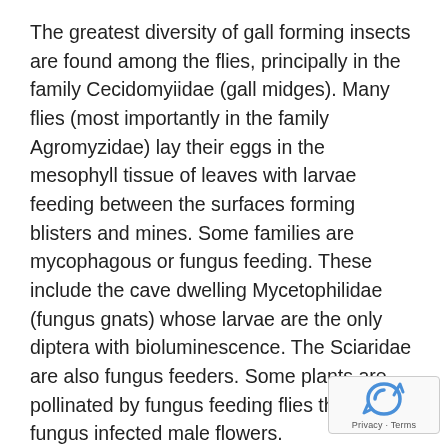The greatest diversity of gall forming insects are found among the flies, principally in the family Cecidomyiidae (gall midges). Many flies (most importantly in the family Agromyzidae) lay their eggs in the mesophyll tissue of leaves with larvae feeding between the surfaces forming blisters and mines. Some families are mycophagous or fungus feeding. These include the cave dwelling Mycetophilidae (fungus gnats) whose larvae are the only diptera with bioluminescence. The Sciaridae are also fungus feeders. Some plants are pollinated by fungus feeding flies that visit fungus infected male flowers.
The larvae of Megaselia scalaris (Phoridae) are almost omnivorous and consume such substances